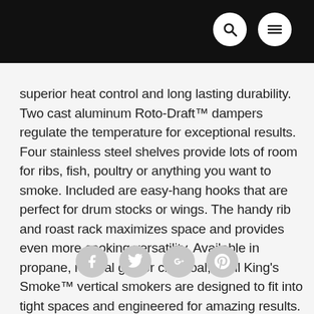[navigation header with search and menu icons]
superior heat control and long lasting durability. Two cast aluminum Roto-Draft™ dampers regulate the temperature for exceptional results. Four stainless steel shelves provide lots of room for ribs, fish, poultry or anything you want to smoke. Included are easy-hang hooks that are perfect for drum stocks or wings. The handy rib and roast rack maximizes space and provides even more cooking versatility. Available in propane, natural gas or charcoal, Broil King's Smoke™ vertical smokers are designed to fit into tight spaces and engineered for amazing results.
[Figure (other): Social media sharing icons: Facebook, Twitter, Google+, Pinterest]